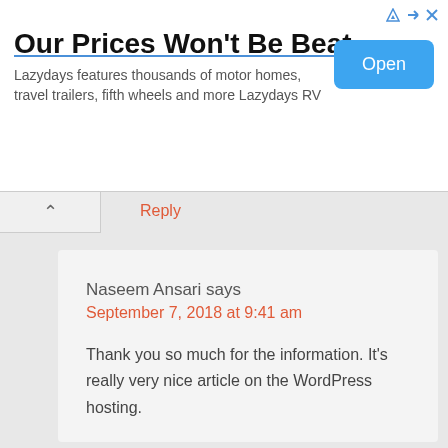[Figure (other): Advertisement banner: 'Our Prices Won't Be Beat' with Lazydays RV text and Open button]
Reply
Naseem Ansari says
September 7, 2018 at 9:41 am

Thank you so much for the information. It's really very nice article on the WordPress hosting.

Reply